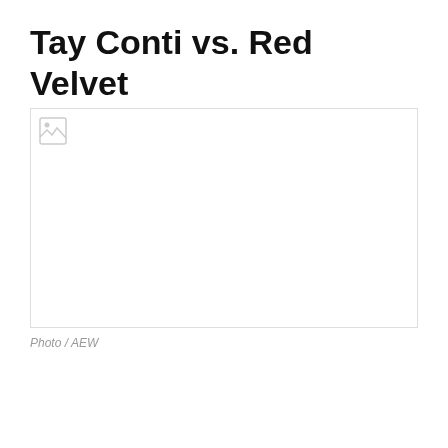Tay Conti vs. Red Velvet
[Figure (photo): A broken/unloaded image placeholder showing a partially loaded image icon with a light gray border, representing a photo related to Tay Conti vs. Red Velvet AEW match.]
Photo / AEW